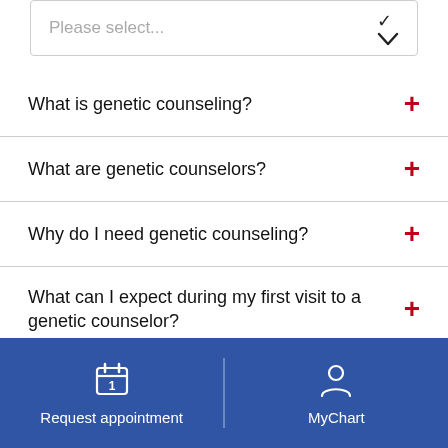[Figure (screenshot): Dropdown selector with placeholder text 'Please select...' and a down arrow chevron]
What is genetic counseling?
What are genetic counselors?
Why do I need genetic counseling?
What can I expect during my first visit to a genetic counselor?
I just want genetic testing. Why do I need genetic counseling?
Request appointment   MyChart